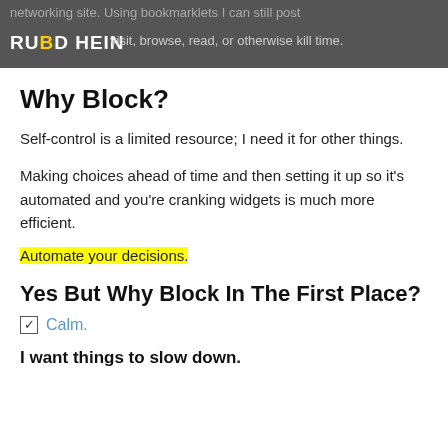networking site. Using bookmarklets I can still post
RUBD HEIN visit, browse, read, or otherwise kill time.
Why Block?
Self-control is a limited resource; I need it for other things.
Making choices ahead of time and then setting it up so it's automated and you're cranking widgets is much more efficient.
Automate your decisions.
Yes But Why Block In The First Place?
Calm.
I want things to slow down.